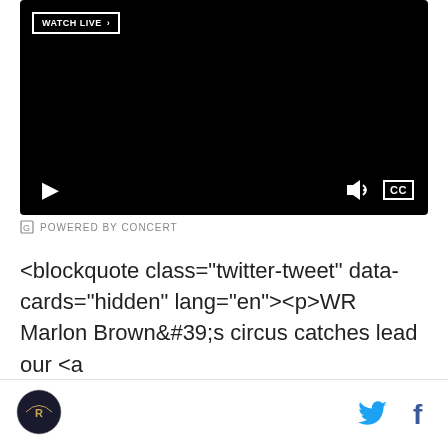[Figure (screenshot): Black video player with WATCH LIVE button, play button, volume icon, and CC button]
G POWERED BY CONCERT
<blockquote class="twitter-tweet" data-cards="hidden" lang="en"><p>WR Marlon Brown&#39;s circus catches lead our <a href="https://twitter.com/hashtag/RavensCamp?src=hash">#RavensCamp</a> highlights from
[Figure (logo): Baltimore Ravens circular team logo]
[Figure (illustration): Twitter bird icon in blue and Facebook f icon in dark blue]